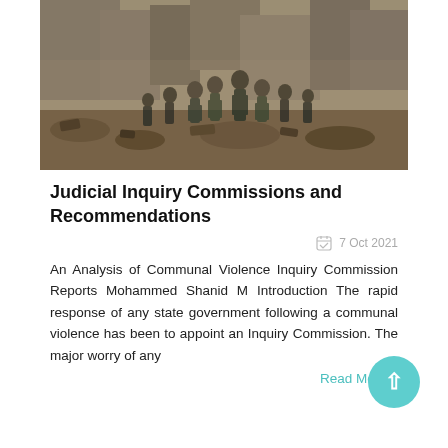[Figure (photo): Military/security personnel in riot gear walking through a rubble-strewn street, suggesting aftermath of communal violence.]
Judicial Inquiry Commissions and Recommendations
7 Oct 2021
An Analysis of Communal Violence Inquiry Commission Reports Mohammed Shanid M Introduction The rapid response of any state government following a communal violence has been to appoint an Inquiry Commission. The major worry of any
Read More...